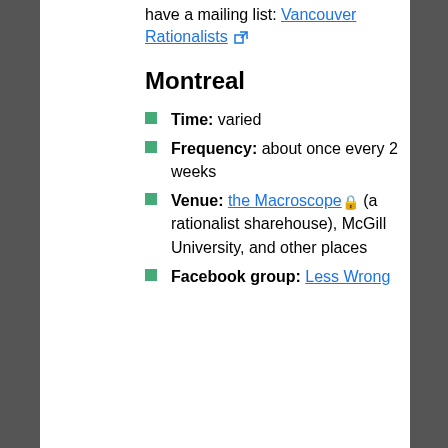have a mailing list: Vancouver Rationalists [external link]
Montreal
Time: varied
Frequency: about once every 2 weeks
Venue: the Macroscope [lock] (a rationalist sharehouse), McGill University, and other places
Facebook group: Less Wrong